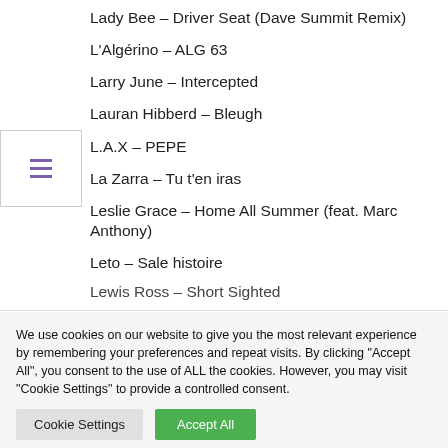Lady Bee – Driver Seat (Dave Summit Remix)
L'Algérino – ALG 63
Larry June – Intercepted
Lauran Hibberd – Bleugh
L.A.X – PEPE
La Zarra – Tu t'en iras
Leslie Grace – Home All Summer (feat. Marc Anthony)
Leto – Sale histoire
Lewis Ross – Short Sighted
We use cookies on our website to give you the most relevant experience by remembering your preferences and repeat visits. By clicking "Accept All", you consent to the use of ALL the cookies. However, you may visit "Cookie Settings" to provide a controlled consent.